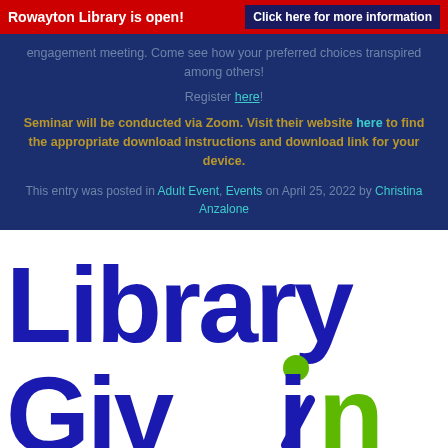Rowayton Library is open!  Click here for more information
engagement meeting. Come see how your preferred choices transpired among others!
Register here!
Seminar will be conducted via Zoom. Visit their website here to find the appropriate download instructions and download link for your device.
This entry was posted in Adult Event, Events on April 25, 2022 by Christina Anzalone
[Figure (logo): Library GivIn logo — large bold blue text reading 'Library' on top and 'GivIn' below, with green dot over the 'i' in 'Givin' and green 'n' at the end, cropped at right edge]